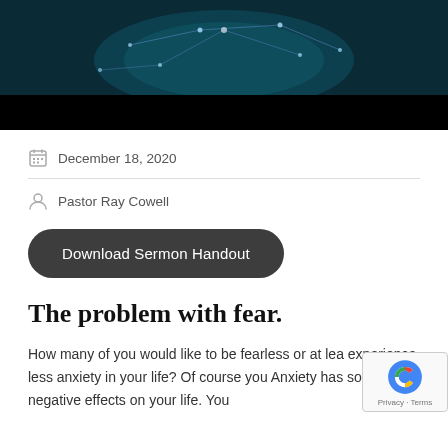[Figure (photo): Dark hero image showing a glowing globe with network connections on a teal/dark background with a black bar at bottom]
December 18, 2020
Pastor Ray Cowell
Download Sermon Handout
The problem with fear.
How many of you would like to be fearless or at least experience less anxiety in your life? Of course you. Anxiety has so many negative effects on your life. You